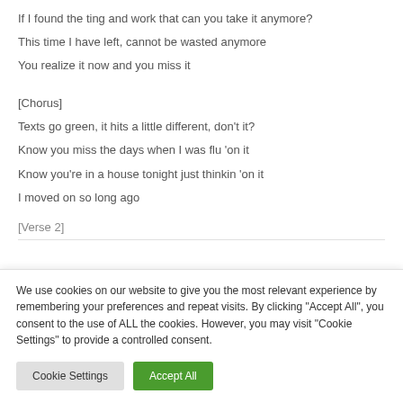If I found the ting and work that can you take it anymore?
This time I have left, cannot be wasted anymore
You realize it now and you miss it
[Chorus]
Texts go green, it hits a little different, don't it?
Know you miss the days when I was flu 'on it
Know you're in a house tonight just thinkin 'on it
I moved on so long ago
[Verse 2]
We use cookies on our website to give you the most relevant experience by remembering your preferences and repeat visits. By clicking "Accept All", you consent to the use of ALL the cookies. However, you may visit "Cookie Settings" to provide a controlled consent.